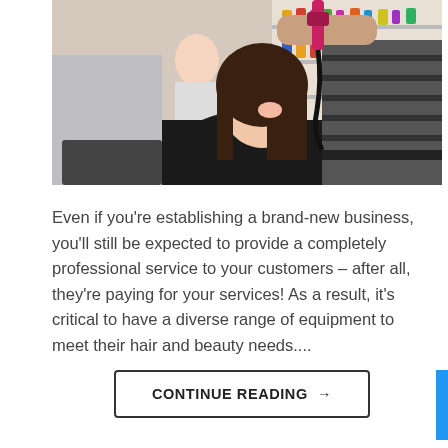[Figure (photo): A woman sitting in a salon chair smiling while a hairstylist in a striped shirt blow-dries her dark brown shoulder-length hair. The salon background shows shelves with hair products and another stylist in the background.]
Even if you're establishing a brand-new business, you'll still be expected to provide a completely professional service to your customers – after all, they're paying for your services! As a result, it's critical to have a diverse range of equipment to meet their hair and beauty needs....
CONTINUE READING →